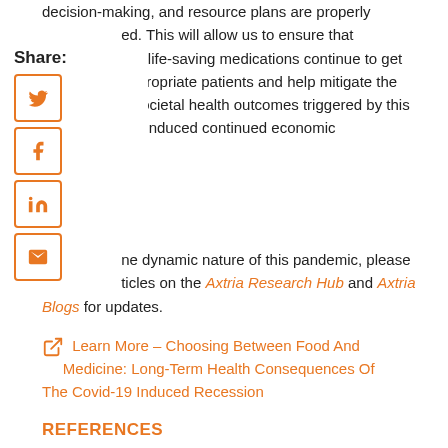decision-making, and resource plans are properly ed. This will allow us to ensure that ally life-saving medications continue to get appropriate patients and help mitigate the e societal health outcomes triggered by this nic-induced continued economic inty.
[Figure (infographic): Share sidebar with Twitter, Facebook, LinkedIn, and Email icon buttons in orange outline style]
ne dynamic nature of this pandemic, please ticles on the Axtria Research Hub and Axtria Blogs for updates.
Learn More - Choosing Between Food And Medicine: Long-Term Health Consequences Of The Covid-19 Induced Recession
REFERENCES